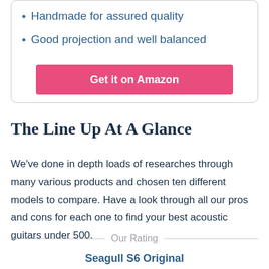Handmade for assured quality
Good projection and well balanced
Get it on Amazon
The Line Up At A Glance
We've done in depth loads of researches through many various products and chosen ten different models to compare. Have a look through all our pros and cons for each one to find your best acoustic guitars under 500.
Our Rating
Seagull S6 Original